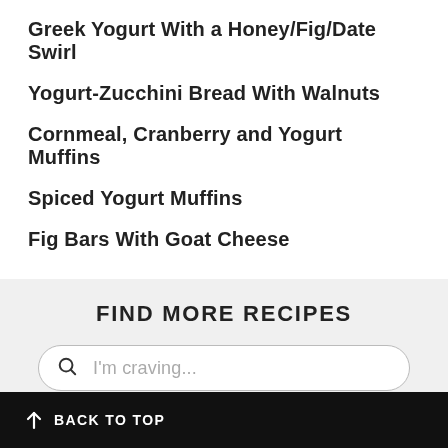Greek Yogurt With a Honey/Fig/Date Swirl
Yogurt-Zucchini Bread With Walnuts
Cornmeal, Cranberry and Yogurt Muffins
Spiced Yogurt Muffins
Fig Bars With Goat Cheese
FIND MORE RECIPES
I'm craving...
SEARCH
↑ BACK TO TOP